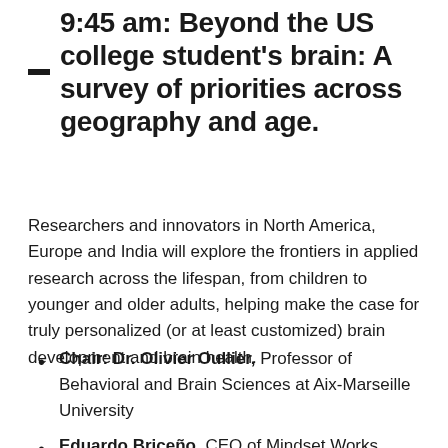9:45 am: Beyond the US college student's brain: A survey of priorities across geography and age.
Researchers and innovators in North America, Europe and India will explore the frontiers in applied research across the lifespan, from children to younger and older adults, helping make the case for truly personalized (or at least customized) brain development and brain health.
Chair: Dr. Olivier Oullier, Professor of Behavioral and Brain Sciences at Aix-Marseille University
Eduardo Briceño, CEO of Mindset Works
Anu Acharya, Founder and CEO of Map My